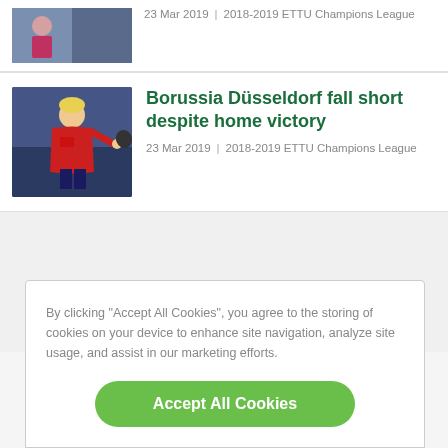[Figure (photo): Partial top article thumbnail showing a pink/purple jersey sports player]
23 Mar 2019 | 2018-2019 ETTU Champions League
[Figure (photo): Table tennis player in red uniform mid-action shot]
Borussia Düsseldorf fall short despite home victory
23 Mar 2019 | 2018-2019 ETTU Champions League
By clicking "Accept All Cookies", you agree to the storing of cookies on your device to enhance site navigation, analyze site usage, and assist in our marketing efforts.
Accept All Cookies